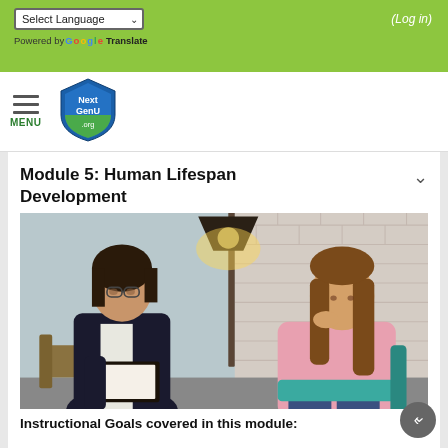Select Language | (Log in) | Powered by Google Translate
[Figure (logo): NextGenU.org shield logo in blue and green]
Module 5: Human Lifespan Development
[Figure (photo): A counselor with glasses and dark blazer taking notes while speaking with a teenage girl in a pink hoodie, seated in a counseling room with a lamp and brick wall background]
Instructional Goals covered in this module: